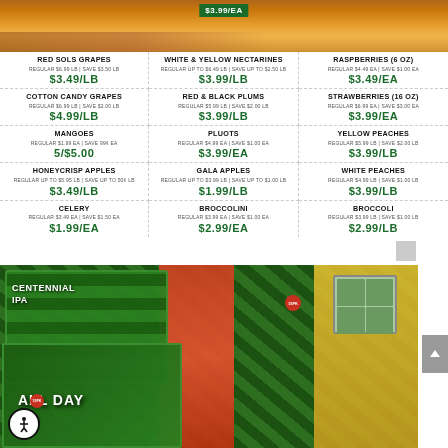[Figure (photo): Top portion showing cantaloupe/melon image with a green price tag overlay showing $3.99/EA]
RED SOLS GRAPES
REGULAR $6.99 LB | SAVE $3.50 LB
$3.49/LB
WHITE & YELLOW NECTARINES
REGULAR UP TO $6.49 LB | SAVE UP TO $2.50 LB
$3.99/LB
RASPBERRIES (6 OZ)
REGULAR $4.49 EA | SAVE $1.00 EA
$3.49/EA
COTTON CANDY GRAPES
REGULAR $6.99 LB | SAVE $2.00 LB
$4.99/LB
RED & BLACK PLUMS
REGULAR $5.99 LB | SAVE $2.00 LB
$3.99/LB
STRAWBERRIES (16 OZ)
REGULAR $6.99 EA | SAVE $3.00 EA
$3.99/EA
MANGOES
REGULAR $1.99 EA | SAVE 99¢ EA
5/$5.00
PLUOTS
REGULAR $4.99 EA | SAVE $1.00 EA
$3.99/EA
YELLOW PEACHES
REGULAR $5.99 LB | SAVE $2.00 LB
$3.99/LB
HONEYCRISP APPLES
REGULAR UP TO $5.95 LB | SAVE UP TO 50¢ LB
$3.49/LB
GALA APPLES
REGULAR UP TO $3.99 LB | SAVE UP TO $1.00 LB
$1.99/LB
WHITE PEACHES
REGULAR $4.99 LB | SAVE $1.00 LB
$3.99/LB
CELERY
REGULAR $3.49 EA | SAVE $1.50 EA
$1.99/EA
BROCCOLINI
REGULAR $3.99 EA | SAVE $1.00 EA
$2.99/EA
BROCCOLI
REGULAR $3.99 LB | SAVE $1.00 LB
$2.99/LB
[Figure (photo): Photo of Centennial IPA and All Day IPA beer 15-packs stacked in a store, green and yellow packaging visible]